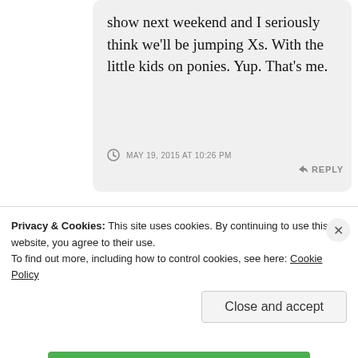show next weekend and I seriously think we'll be jumping Xs. With the little kids on ponies. Yup. That's me.
MAY 19, 2015 AT 10:26 PM
REPLY
firnhyde
Privacy & Cookies: This site uses cookies. By continuing to use this website, you agree to their use.
To find out more, including how to control cookies, see here: Cookie Policy
Close and accept